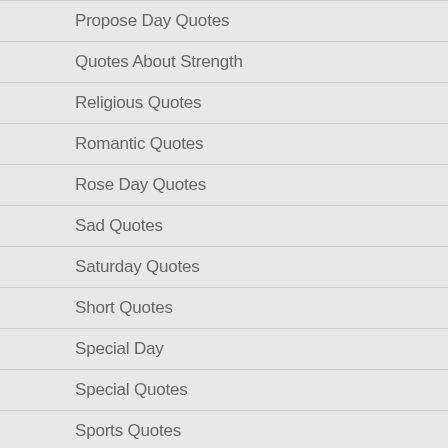Propose Day Quotes
Quotes About Strength
Religious Quotes
Romantic Quotes
Rose Day Quotes
Sad Quotes
Saturday Quotes
Short Quotes
Special Day
Special Quotes
Sports Quotes
Success Quotes